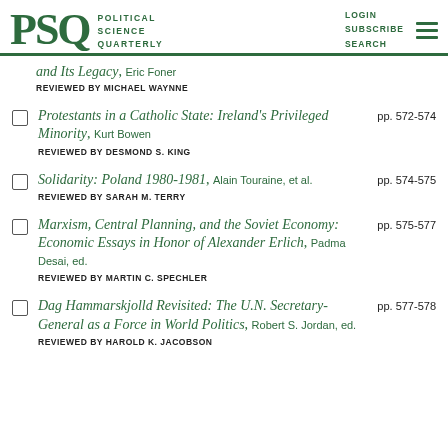PSQ POLITICAL SCIENCE QUARTERLY | LOGIN SUBSCRIBE SEARCH
and Its Legacy, Eric Foner
REVIEWED BY MICHAEL WAYNNE
Protestants in a Catholic State: Ireland's Privileged Minority, Kurt Bowen
REVIEWED BY DESMOND S. KING
pp. 572-574
Solidarity: Poland 1980-1981, Alain Touraine, et al.
REVIEWED BY SARAH M. TERRY
pp. 574-575
Marxism, Central Planning, and the Soviet Economy: Economic Essays in Honor of Alexander Erlich, Padma Desai, ed.
REVIEWED BY MARTIN C. SPECHLER
pp. 575-577
Dag Hammarskjolld Revisited: The U.N. Secretary-General as a Force in World Politics, Robert S. Jordan, ed.
REVIEWED BY HAROLD K. JACOBSON
pp. 577-578